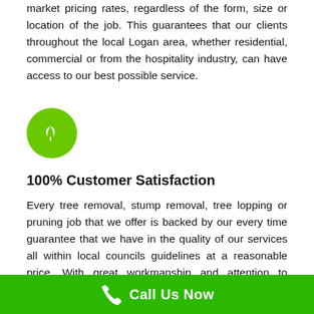market pricing rates, regardless of the form, size or location of the job. This guarantees that our clients throughout the local Logan area, whether residential, commercial or from the hospitality industry, can have access to our best possible service.
[Figure (illustration): Green circle icon with two white leaves, representing eco/nature service]
100% Customer Satisfaction
Every tree removal, stump removal, tree lopping or pruning job that we offer is backed by our every time guarantee that we have in the quality of our services all within local councils guidelines at a reasonable price. With great workmanship and attention to details, we customize our
Call Us Now